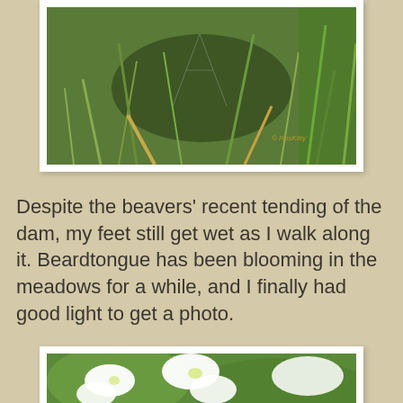[Figure (photo): Close-up photo of tangled grasses and wild vegetation on the ground, showing blades of green grass and dried stems.]
Despite the beavers' recent tending of the dam, my feet still get wet as I walk along it. Beardtongue has been blooming in the meadows for a while, and I finally had good light to get a photo.
[Figure (photo): Close-up photo of white Beardtongue flowers (Penstemon) in bloom against a blurred green background.]